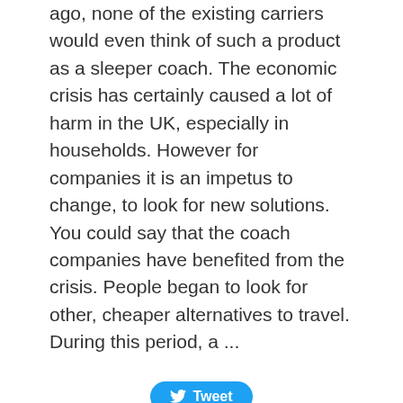ago, none of the existing carriers would even think of such a product as a sleeper coach. The economic crisis has certainly caused a lot of harm in the UK, especially in households. However for companies it is an impetus to change, to look for new solutions. You could say that the coach companies have benefited from the crisis. People began to look for other, cheaper alternatives to travel. During this period, a ...
[Figure (other): Tweet button (Twitter/X share button)]
[Figure (other): Continue reading button with arrow]
New coach services
Stagecoach has introduced a new quality